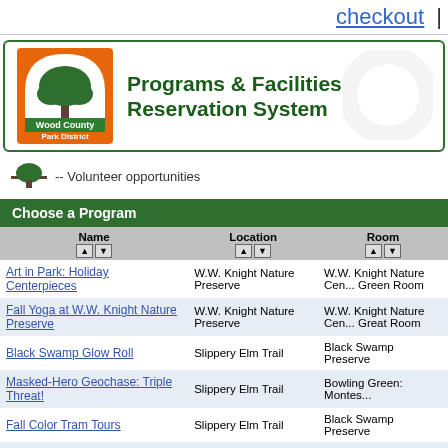checkout |
[Figure (logo): Wood County Park District logo — orange arch with green tree, text 'Wood County Park District']
Programs & Facilities Reservation System
-- Volunteer opportunities
Choose a Program
| Name | Location | Room |
| --- | --- | --- |
| Art in Park: Holiday Centerpieces | W.W. Knight Nature Preserve | W.W. Knight Nature Center Green Room |
| Fall Yoga at W.W. Knight Nature Preserve | W.W. Knight Nature Preserve | W.W. Knight Nature Center Great Room |
| Black Swamp Glow Roll | Slippery Elm Trail | Black Swamp Preserve |
| Masked-Hero Geochase: Triple Threat! | Slippery Elm Trail | Bowling Green: Montes... |
| Fall Color Tram Tours | Slippery Elm Trail | Black Swamp Preserve |
| Coffee with the Birds | Sawyer Quarry Nature Preserve | Group Permit |
| Sunset Top-Rope Climbing | Sawyer Quarry Nature Preserve | Group Permit |